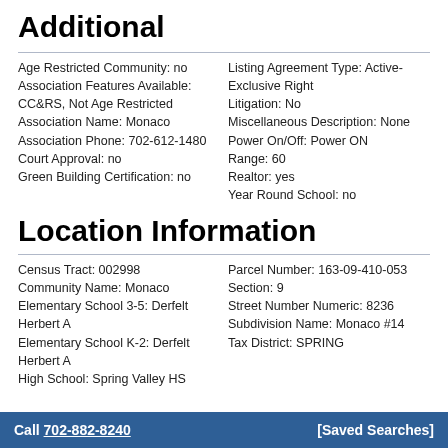Additional
Age Restricted Community: no
Association Features Available: CC&RS, Not Age Restricted
Association Name: Monaco
Association Phone: 702-612-1480
Court Approval: no
Green Building Certification: no
Listing Agreement Type: Active-Exclusive Right
Litigation: No
Miscellaneous Description: None
Power On/Off: Power ON
Range: 60
Realtor: yes
Year Round School: no
Location Information
Census Tract: 002998
Community Name: Monaco
Elementary School 3-5: Derfelt Herbert A
Elementary School K-2: Derfelt Herbert A
High School: Spring Valley HS
Parcel Number: 163-09-410-053
Section: 9
Street Number Numeric: 8236
Subdivision Name: Monaco #14
Tax District: SPRING
Call 702-882-8240    [Saved Searches]